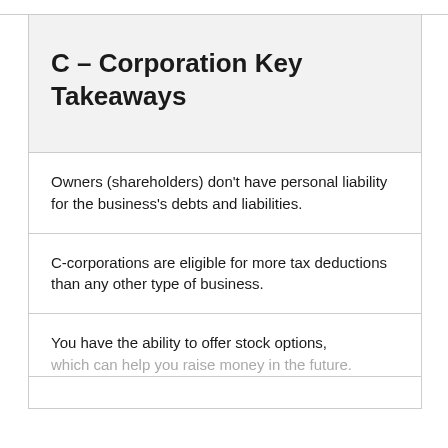C – Corporation Key Takeaways
Owners (shareholders) don't have personal liability for the business's debts and liabilities.
C-corporations are eligible for more tax deductions than any other type of business.
You have the ability to offer stock options, which can help you raise money in the future.